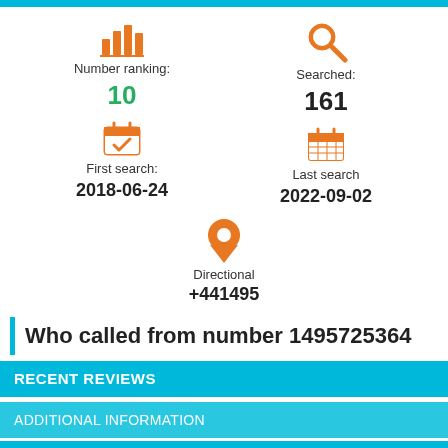Number ranking: 10
Searched: 161
First search: 2018-06-24
Last search 2022-09-02
Directional +441495
Who called from number 1495725364
RECENT REVIEWS
ADDITIONAL INFORMATION